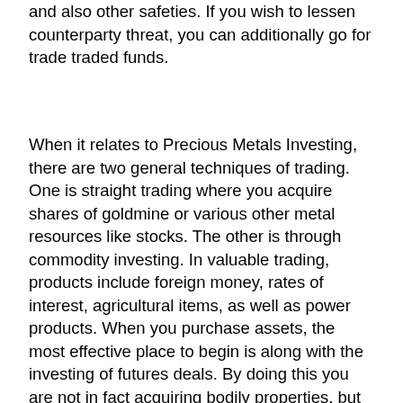and also other safeties. If you wish to lessen counterparty threat, you can additionally go for trade traded funds.
When it relates to Precious Metals Investing, there are two general techniques of trading. One is straight trading where you acquire shares of goldmine or various other metal resources like stocks. The other is through commodity investing. In valuable trading, products include foreign money, rates of interest, agricultural items, as well as power products. When you purchase assets, the most effective place to begin is along with the investing of futures deals. By doing this you are not in fact acquiring bodily properties, but rather buying monetary properties that possess higher possibility for